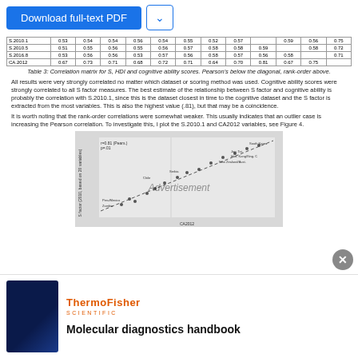|  |  |  |  |  |  |  |  |  |  |  |  |
| --- | --- | --- | --- | --- | --- | --- | --- | --- | --- | --- | --- |
| S.2010.1 | 0.53 | 0.54 | 0.54 | 0.56 | 0.54 | 0.55 | 0.52 | 0.57 |  | 0.59 | 0.56 | 0.75 |
| S.2010.5 | 0.51 | 0.55 | 0.56 | 0.55 | 0.56 | 0.57 | 0.58 | 0.58 | 0.59 |  | 0.58 | 0.72 |
| S.2016.8 | 0.53 | 0.56 | 0.56 | 0.53 | 0.57 | 0.56 | 0.58 | 0.57 | 0.56 | 0.58 |  | 0.71 |
| CA.2012 | 0.67 | 0.73 | 0.71 | 0.68 | 0.72 | 0.71 | 0.64 | 0.70 | 0.81 | 0.67 | 0.75 |  |
Table 3: Correlation matrix for S, HDI and cognitive ability scores. Pearson's below the diagonal, rank-order above.
All results were very strongly correlated no matter which dataset or scoring method was used. Cognitive ability scores were strongly correlated to all S factor measures. The best estimate of the relationship between S factor and cognitive ability is probably the correlation with S.2010.1, since this is the dataset closest in time to the cognitive dataset and the S factor is extracted from the most variables. This is also the highest value (.81), but that may be a coincidence.
It is worth noting that the rank-order correlations were somewhat weaker. This usually indicates that an outlier case is increasing the Pearson correlation. To investigate this, I plot the S.2010.1 and CA2012 variables, see Figure 4.
[Figure (scatter-plot): Scatter plot of S factor (2010) vs CA2012 with a dashed trend line. Points represent countries with labels. Title area shows r=0.81, p=0.01, n=24.]